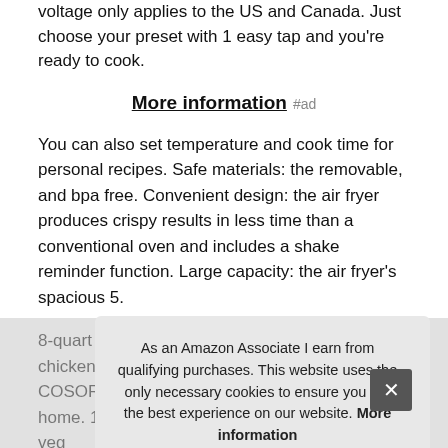voltage only applies to the US and Canada. Just choose your preset with 1 easy tap and you're ready to cook.
More information #ad
You can also set temperature and cook time for personal recipes. Safe materials: the removable, and bpa free. Convenient design: the air fryer produces crispy results in less time than a conventional oven and includes a shake reminder function. Large capacity: the air fryer's spacious 5.
8-quart square baskets can fit a whole 5-pound chicken. California roots: based in california, COSORI is proud to call the Golden State our home. 11 cooking functions: 11 presets, preheat, veg, more, find PFC...
As an Amazon Associate I earn from qualifying purchases. This website uses the only necessary cookies to ensure you get the best experience on our website. More information